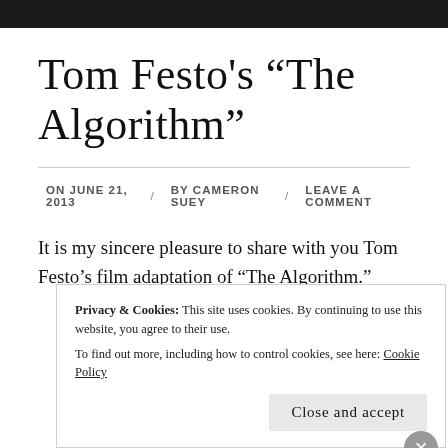Tom Festo's “The Algorithm”
ON JUNE 21, 2013 / BY CAMERON SUEY / LEAVE A COMMENT
It is my sincere pleasure to share with you Tom Festo’s film adaptation of “The Algorithm.”
Privacy & Cookies: This site uses cookies. By continuing to use this website, you agree to their use.
To find out more, including how to control cookies, see here: Cookie Policy
Close and accept